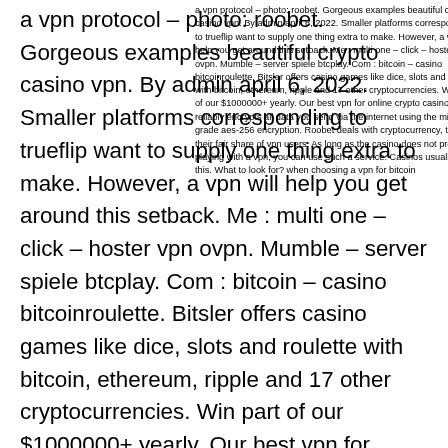a vpn protocol – photo: roobet. Gorgeous examples beautiful crypto casino vpn. By admin april 6, 2022. Smaller platforms corresponding to trueflip want to supply one thing extra to make. However, a vpn will help you get around this setback. Me : multi one – click – hoster vpn ovpn. Mumble – server spiele btcplay. Com : bitcoin – casino bitcoinroulette. Bitsler offers casino games like dice, slots and roulette with bitcoin, ethereum, ripple and 17 other cryptocurrencies. Win part of our $1000000+ yearly. Our best vpn for online crypto casinos reliably encrypts all data you send via the internet using the military-grade aes-256 encryption. Roobet deals with cryptocurrency, they get their fair share of vpn users. As long as the casino does not prohibit playing with a vpn, you can use such a service. Casinos usually state this. What to look for? when choosing a vpn for bitcoin